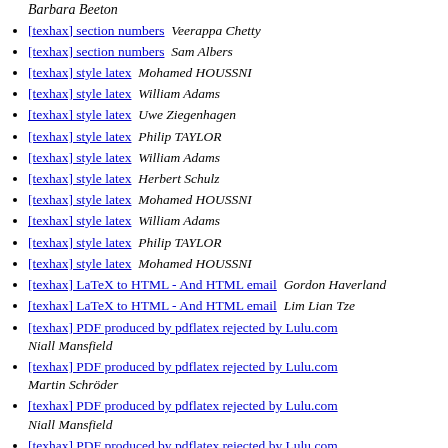Barbara Beeton
[texhax] section numbers   Veerappa Chetty
[texhax] section numbers   Sam Albers
[texhax] style latex   Mohamed HOUSSNI
[texhax] style latex   William Adams
[texhax] style latex   Uwe Ziegenhagen
[texhax] style latex   Philip TAYLOR
[texhax] style latex   William Adams
[texhax] style latex   Herbert Schulz
[texhax] style latex   Mohamed HOUSSNI
[texhax] style latex   William Adams
[texhax] style latex   Philip TAYLOR
[texhax] style latex   Mohamed HOUSSNI
[texhax] LaTeX to HTML - And HTML email   Gordon Haverland
[texhax] LaTeX to HTML - And HTML email   Lim Lian Tze
[texhax] PDF produced by pdflatex rejected by Lulu.com   Niall Mansfield
[texhax] PDF produced by pdflatex rejected by Lulu.com   Martin Schröder
[texhax] PDF produced by pdflatex rejected by Lulu.com   Niall Mansfield
[texhax] PDF produced by pdflatex rejected by Lulu.com   Martin Heller
[texhax] PDF produced by pdflatex rejected by Lulu.com